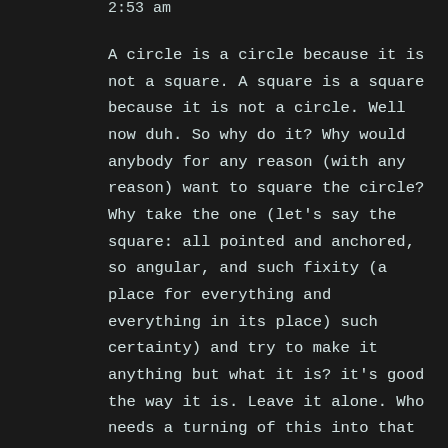2:53 am
A circle is a circle because it is not a square. A square is a square because it is not a circle. Well now duh. So why do it? Why would anybody for any reason (with any reason) want to square the circle? Why take the one (let's say the square: all pointed and anchored, so angular, and such fixity (a place for everything and everything in its place) such certainty) and try to make it anything but what it is? it's good the way it is. Leave it alone. Who needs a turning of this into that when you already have both this and that. And look at that that: smooth and continuous. arcing around, no beginning no end: doesn't know if it is coming or going, really, and frankly doesn't care. You can't pin